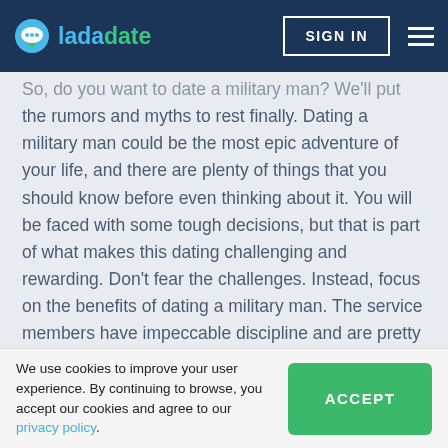ladadate | SIGN IN
So, do you want to date a military man? We'll put the rumors and myths to rest finally. Dating a military man could be the most epic adventure of your life, and there are plenty of things that you should know before even thinking about it. You will be faced with some tough decisions, but that is part of what makes this dating challenging and rewarding. Don't fear the challenges. Instead, focus on the benefits of dating a military man. The service members have impeccable discipline and are pretty protective. You will enjoy the whole experience of dating a man in uniform, while he will not have to search for dating women online.
We use cookies to improve your user experience. By continuing to browse, you accept our cookies and agree to our privacy policy.